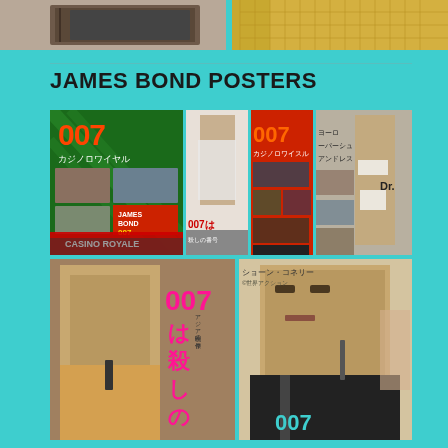[Figure (photo): Top strip showing partial images — appears to be notebooks/books on left and woven texture on right]
JAMES BOND POSTERS
[Figure (photo): Grid of Japanese James Bond movie posters including Casino Royale (007 カジノロワイヤル), Dr. No era posters with Ursula Andress, and Sean Connery era posters. Top row shows four posters side by side, bottom row shows two wider posters. Posters feature Japanese text and iconic Bond imagery.]